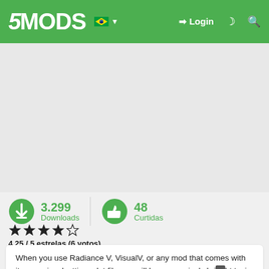5MODS  Login
[Figure (other): Advertisement/blank area placeholder]
3.299 Downloads  48 Curtidas
4.25 / 5 estrelas (6 votos)
When you use Radiance V, VisualV, or any mod that comes with its own visualsettings.dat file you will have massively bright taxi ad signs. Heres the solution. As you can see in the pics they are nowhere near bright or so blinding you cant even see the ads themselves. I am using my own custom made visualsettings.dat